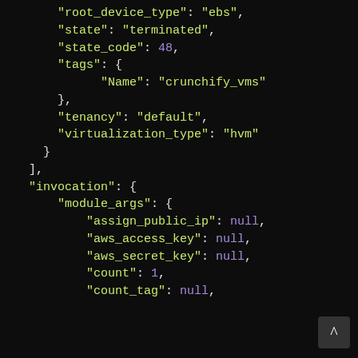[Figure (screenshot): Code editor screenshot showing JSON/Python data structure with syntax highlighting. Dark background with green keys/strings, purple numbers and null values. Shows fields: root_device_type, state, state_code, tags (with Name: crunchify_vms), tenancy, virtualization_type, closing braces, invocation object with module_args containing assign_public_ip, aws_access_key, aws_secret_key, count, count_tag fields.]